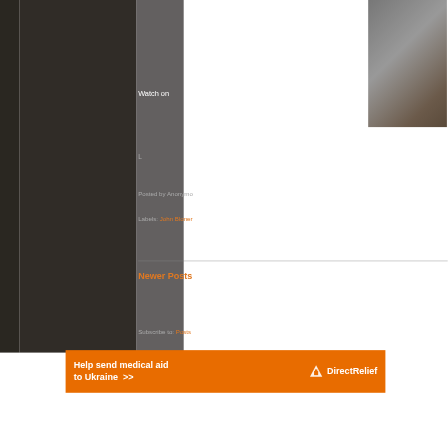[Figure (screenshot): Screenshot of a blog/website with dark background. Left side is very dark panel, right side is a gray panel showing partial blog post metadata and navigation. A video thumbnail with 'Watch on' text is partially visible in the top right. Text shows 'Posted by Anonymo...', 'Labels: John Bloner', 'Newer Posts', 'Subscribe to: Posts'.]
Watch on
Posted by Anonymo
Labels: John Bloner
Newer Posts
Subscribe to: Posts
Help send medical aid to Ukraine >>
[Figure (logo): Direct Relief logo with bird/dove icon and text 'DirectRelief']